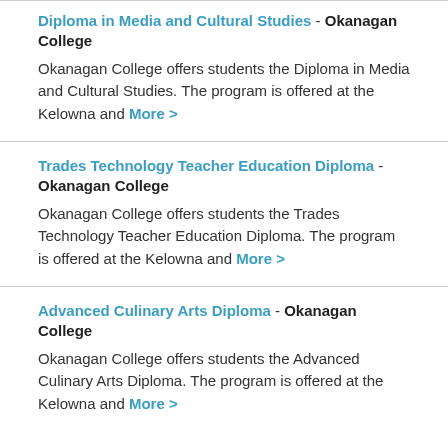Diploma in Media and Cultural Studies - Okanagan College
Okanagan College offers students the Diploma in Media and Cultural Studies. The program is offered at the Kelowna and More >
Trades Technology Teacher Education Diploma - Okanagan College
Okanagan College offers students the Trades Technology Teacher Education Diploma. The program is offered at the Kelowna and More >
Advanced Culinary Arts Diploma - Okanagan College
Okanagan College offers students the Advanced Culinary Arts Diploma. The program is offered at the Kelowna and More >